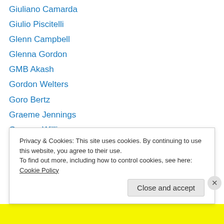Giuliano Camarda
Giulio Piscitelli
Glenn Campbell
Glenna Gordon
GMB Akash
Gordon Welters
Goro Bertz
Graeme Jennings
Graeme Williams
Graham Miller
Greg Constantine
Greg Kahn
Greg Miller
Privacy & Cookies: This site uses cookies. By continuing to use this website, you agree to their use. To find out more, including how to control cookies, see here: Cookie Policy